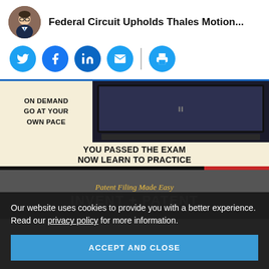Federal Circuit Upholds Thales Motion...
[Figure (infographic): Social sharing buttons: Twitter, Facebook, LinkedIn, Email (with divider), Print]
[Figure (infographic): Advertisement banner: ON DEMAND GO AT YOUR OWN PACE / YOU PASSED THE EXAM NOW LEARN TO PRACTICE / RECORDED FEB 2021 | REGISTER]
[Figure (infographic): Advertisement banner: Patent Filing Made Easy / INVENT + PATENT]
Our website uses cookies to provide you with a better experience. Read our privacy policy for more information.
ACCEPT AND CLOSE